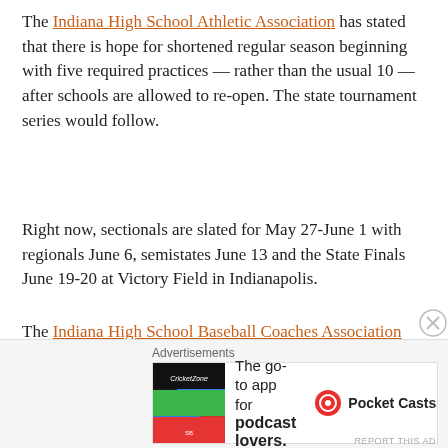The Indiana High School Athletic Association has stated that there is hope for shortened regular season beginning with five required practices — rather than the usual 10 — after schools are allowed to re-open. The state tournament series would follow.
Right now, sectionals are slated for May 27-June 1 with regionals June 6, semistates June 13 and the State Finals June 19-20 at Victory Field in Indianapolis.
The Indiana High School Baseball Coaches Association Futures Game and North/South All-Star Series is to be the next week in Evansville.
Time will tell if any of that happens.
[Figure (other): Advertisement banner: 'The go-to app for podcast lovers. Pocket Casts']